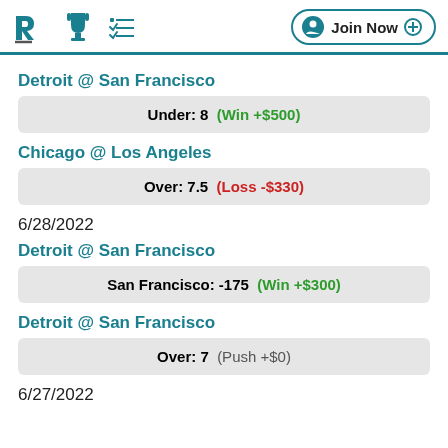PL | trophy | list | Join Now
Detroit @ San Francisco
Under: 8   (Win +$500)
Chicago @ Los Angeles
Over: 7.5   (Loss -$330)
6/28/2022
Detroit @ San Francisco
San Francisco: -175   (Win +$300)
Detroit @ San Francisco
Over: 7   (Push +$0)
6/27/2022